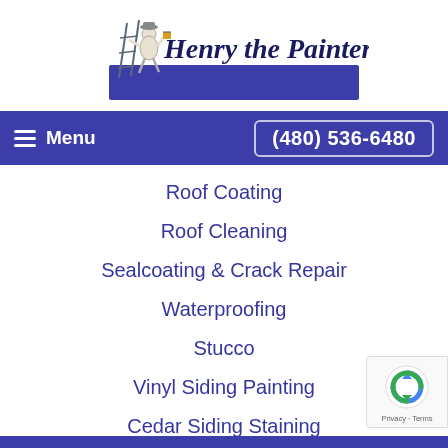[Figure (logo): Henry the Painter logo with painter figure on ladder and stylized text]
Menu   (480) 536-6480
Roof Coating
Roof Cleaning
Sealcoating & Crack Repair
Waterproofing
Stucco
Vinyl Siding Painting
Cedar Siding Staining
Roofing
[Figure (logo): Google reCAPTCHA badge with Privacy - Terms text]